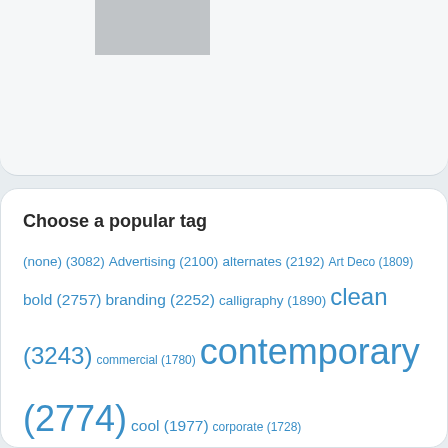[Figure (other): Gray rectangle in top card area, partial UI element]
Choose a popular tag
(none) (3082) Advertising (2100) alternates (2192) Art Deco (1809) bold (2757) branding (2252) calligraphy (1890) clean (3243) commercial (1780) contemporary (2774) cool (1977) corporate (1728) decorative (10559) display (7483) elegant (4324) friendly (1956) fun (1903) funny (3044) geometric (3799) handwriting (3117) handwritten (2095) headline (7215) heavy (2666) informal (3495) invitation (2212) legible (5223)